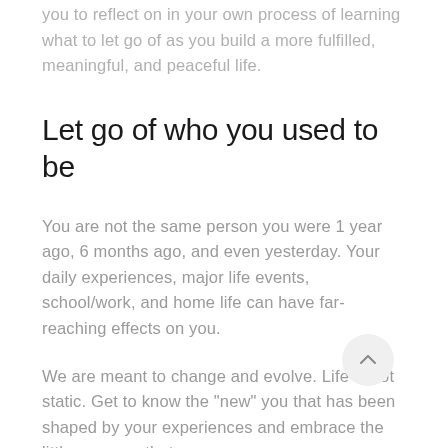you to reflect on in your own process of learning what to let go of as you build a more fulfilled, meaningful, and peaceful life.
Let go of who you used to be
You are not the same person you were 1 year ago, 6 months ago, and even yesterday. Your daily experiences, major life events, school/work, and home life can have far-reaching effects on you.
We are meant to change and evolve. Life is not static. Get to know the “new” you that has been shaped by your experiences and embrace the little nuances that occur